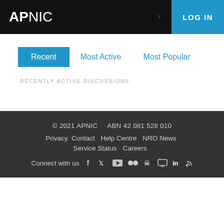APNIC LOG IN
Recent   Most Active   Most Popular
RECENTLY ACTIVE DISCUSSIONS
© 2021 APNIC   ABN 42 081 528 010
Privacy   Contact   Help Centre   NRO News
Service Status   Careers
Connect with us [social icons: Facebook, Twitter, YouTube, Flickr, Weibo, Slideshare, LinkedIn, RSS]